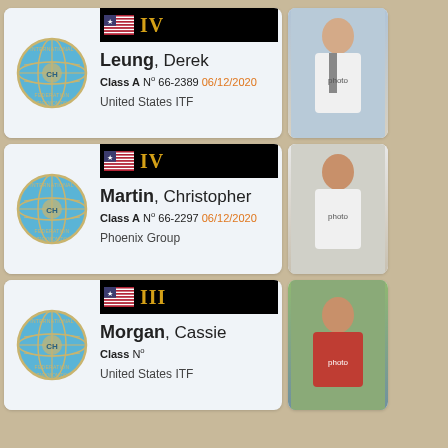Leung, Derek — Class A N° 66-2389 06/12/2020 — United States ITF — Rank IV
Martin, Christopher — Class A N° 66-2297 06/12/2020 — Phoenix Group — Rank IV
Morgan, Cassie — Class N° — United States ITF — Rank III